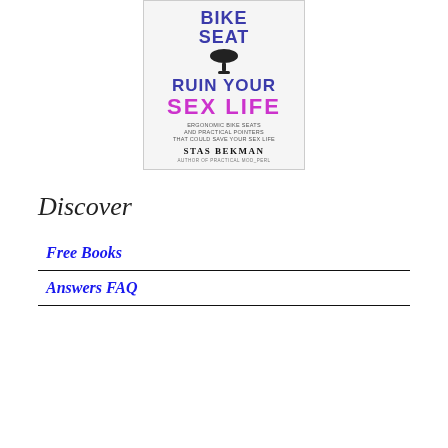[Figure (illustration): Book cover for 'Can Your Bike Seat Ruin Your Sex Life' by Stas Bekman, featuring a bicycle seat icon, title text in blue and magenta, and subtitle text.]
Discover
Free Books
Answers FAQ